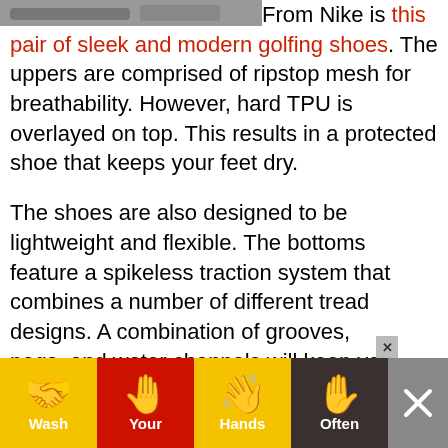[Figure (photo): Partial image of Nike golfing shoes at top-left corner, cropped]
From Nike is this pair of sleek and modern golfing shoes. The uppers are comprised of ripstop mesh for breathability. However, hard TPU is overlayed on top. This results in a protected shoe that keeps your feet dry.

The shoes are also designed to be lightweight and flexible. The bottoms feature a spikeless traction system that combines a number of different tread designs. A combination of grooves, pegs, and water channels will keep you stable on any terrain.
[Figure (infographic): Advertisement banner: Wash Your Hands Often — with hand-washing emoji icons in yellow, red, yellow, and dark background segments]